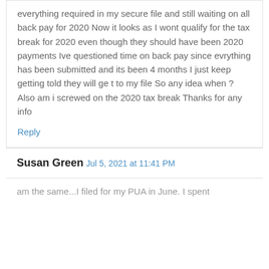everything required in my secure file and still waiting on all back pay for 2020 Now it looks as I wont qualify for the tax break for 2020 even though they should have been 2020 payments Ive questioned time on back pay since evrything has been submitted and its been 4 months I just keep getting told they will ge t to my file So any idea when ? Also am i screwed on the 2020 tax break Thanks for any info
Reply
Susan Green
Jul 5, 2021 at 11:41 PM
am the same...I filed for my PUA in June. I spent